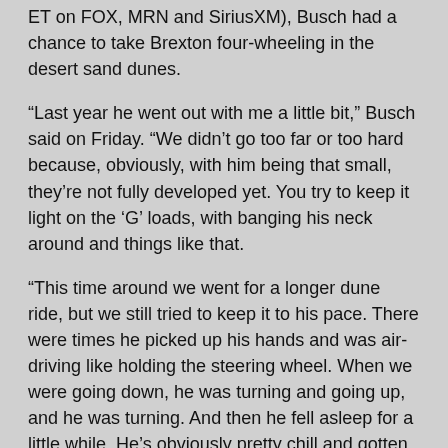ET on FOX, MRN and SiriusXM), Busch had a chance to take Brexton four-wheeling in the desert sand dunes.
“Last year he went out with me a little bit,” Busch said on Friday. “We didn’t go too far or too hard because, obviously, with him being that small, they’re not fully developed yet. You try to keep it light on the ‘G’ loads, with banging his neck around and things like that.
“This time around we went for a longer dune ride, but we still tried to keep it to his pace. There were times he picked up his hands and was air-driving like holding the steering wheel. When we were going down, he was turning and going up, and he was turning. And then he fell asleep for a little while. He’s obviously pretty chill and gotten the hang of it pretty quick.”
As a race car driver and car owner, the 2015 champion also makes sure Brexton has the best equipment in the vehicles he drives at home.